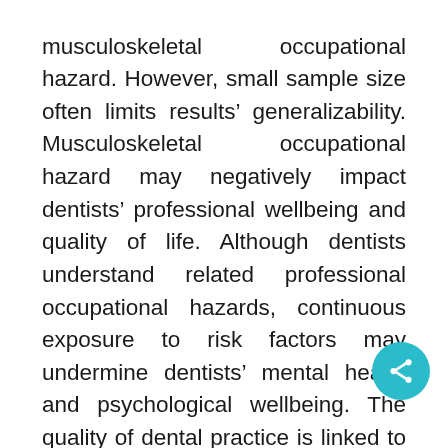musculoskeletal occupational hazard. However, small sample size often limits results' generalizability. Musculoskeletal occupational hazard may negatively impact dentists' professional wellbeing and quality of life. Although dentists understand related professional occupational hazards, continuous exposure to risk factors may undermine dentists' mental health and psychological wellbeing. The quality of dental practice is linked to dentists' manual skills. Musculoskeletal disorders may limit manual skills therefore, ability to deliver optimal care.